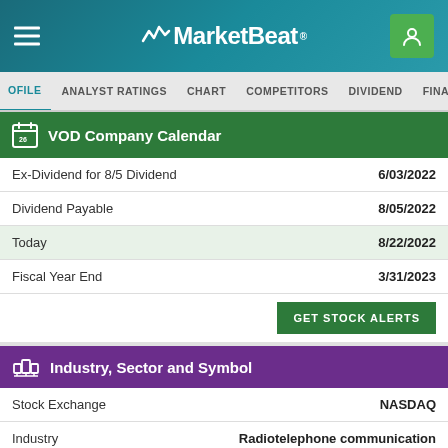MarketBeat
PROFILE  ANALYST RATINGS  CHART  COMPETITORS  DIVIDEND  FINANCIALS
VOD Company Calendar
| Event | Date |
| --- | --- |
| Ex-Dividend for 8/5 Dividend | 6/03/2022 |
| Dividend Payable | 8/05/2022 |
| Today | 8/22/2022 |
| Fiscal Year End | 3/31/2023 |
GET STOCK ALERTS
Industry, Sector and Symbol
| Category | Value |
| --- | --- |
| Stock Exchange | NASDAQ |
| Industry | Radiotelephone communication |
| Sub-Industry | N/A |
| Sector | Computer and Technology |
| Current Symbol | NASDAQ:VOD |
| CUSIP | N/A |